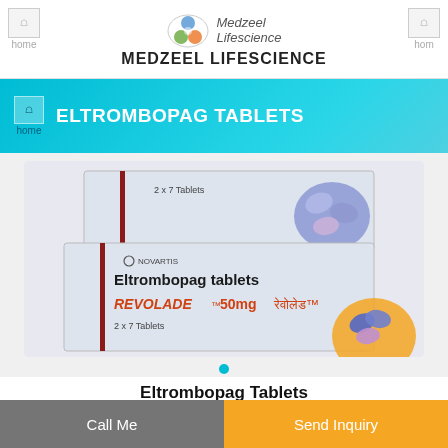MEDZEEL LIFESCIENCE
ELTROMBOPAG TABLETS
[Figure (photo): Photo of Eltrombopag Tablets (Revolade 50mg by Novartis, 2x7 tablets) showing two medicine boxes stacked — the top box shows 2x7 Tablets label and pill graphic, the bottom box shows Novartis branding, 'Eltrombopag tablets', 'REVOLADE 50mg' and Hindi text with orange pill graphic.]
Eltrombopag Tablets
Price And Quantity
Call Me
Send Inquiry